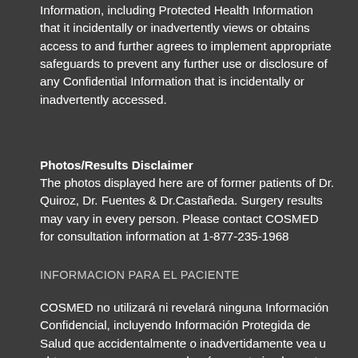Information, including Protected Health Information that it incidentally or inadvertently views or obtains access to and further agrees to implement appropriate safeguards to prevent any further use or disclosure of any Confidential Information that is incidentally or inadvertently accessed.
Photos/Results Disclaimer
The photos displayed here are of former patients of Dr. Quiroz, Dr. Fuentes & Dr.Castañeda. Surgery results may vary in every person. Please contact COSMED for consultation information at 1-877-235-1968
INFORMACION PARA EL PACIENTE
COSMED no utilizará ni revelará ninguna Información Confidencial, incluyendo Información Protegida de Salud que accidentalmente o inadvertidamente vea u obtenga acceso a, y que además acepte implementar salvaguardias apropiadas para prevenir cualquier uso o divulgación adicional de cualquier Información